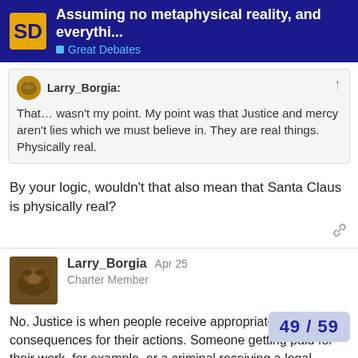Assuming no metaphysical reality, and everythi... | Great Debates
Larry_Borgia: That… wasn't my point. My point was that Justice and mercy aren't lies which we must believe in. They are real things. Physically real.
By your logic, wouldn't that also mean that Santa Claus is physically real?
Larry_Borgia | Charter Member | Apr 25
No. Justice is when people receive appropriate consequences for their actions. Someone getting paid for their work, for example, or a criminal receiving a legal pu... The real things that happen every day. A perso... delivering presents with the aid of flying r...
49 / 59